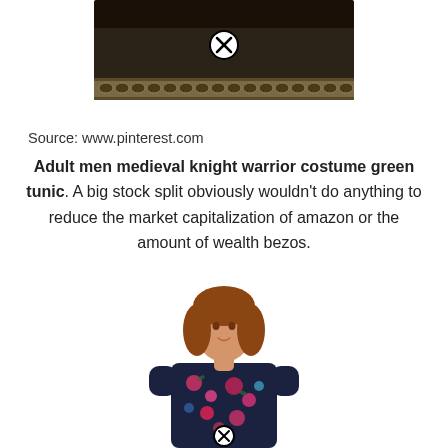[Figure (photo): A dark brown/black medieval costume tunic with decorative border pattern at the bottom and a fold at the top. A circled X icon overlays the center.]
Source: www.pinterest.com
Adult men medieval knight warrior costume green tunic. A big stock split obviously wouldn't do anything to reduce the market capitalization of amazon or the amount of wealth bezos.
[Figure (photo): A young woman with auburn hair wearing a dark navy floral dress with pink and red flowers and short sleeves, posing on a white background. A circled X icon overlays the lower center.]